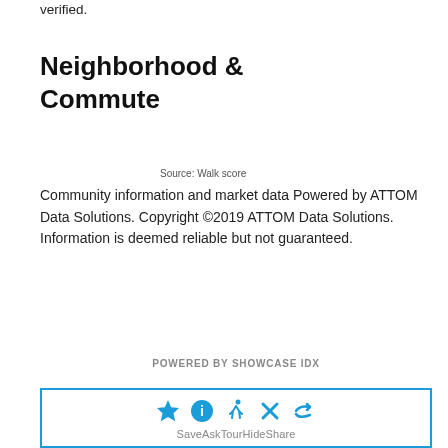verified.
Neighborhood & Commute
Source: Walk score
Community information and market data Powered by ATTOM Data Solutions. Copyright ©2019 ATTOM Data Solutions. Information is deemed reliable but not guaranteed.
POWERED BY SHOWCASE IDX
[Figure (infographic): Action bar with icons for Save, Ask, Tour, Hide, Share in blue, with labels below]